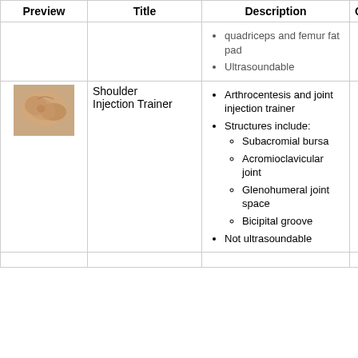| Preview | Title | Description | Quantity | Weblink |
| --- | --- | --- | --- | --- |
|  |  | quadriceps and femur fat pad
Ultrasoundable |  |  |
| [image: Shoulder Injection Trainer] | Shoulder Injection Trainer | Arthrocentesis and joint injection trainer
Structures include:
  Subacromial bursa
  Acromioclavicular joint
  Glenohumeral joint space
  Bicipital groove
Not ultrasoundable | 2 |  |